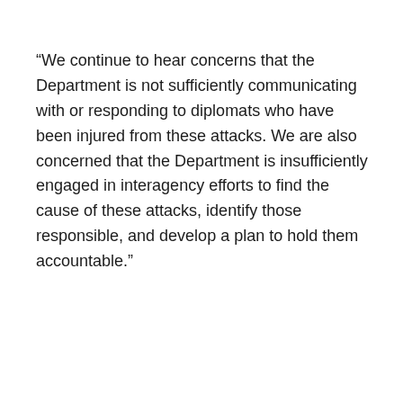“We continue to hear concerns that the Department is not sufficiently communicating with or responding to diplomats who have been injured from these attacks. We are also concerned that the Department is insufficiently engaged in interagency efforts to find the cause of these attacks, identify those responsible, and develop a plan to hold them accountable.”